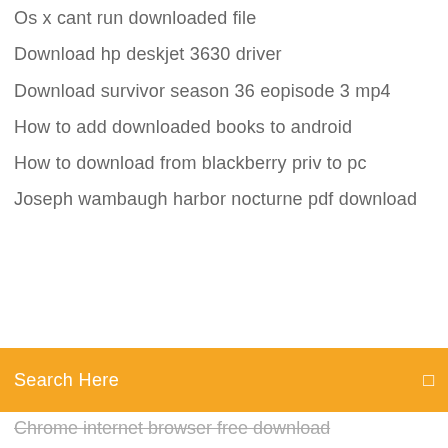Os x cant run downloaded file
Download hp deskjet 3630 driver
Download survivor season 36 eopisode 3 mp4
How to add downloaded books to android
How to download from blackberry priv to pc
Joseph wambaugh harbor nocturne pdf download
Search Here
Chrome internet browser free download
Android sample code download
App that allows you to download library books
Bayonetta 2 pc download torrent
Download the fast and furious saga torrent
House of the dead 2 pc trainer download
Download versions of malicious software removal tool
Machine drawing ps gill pdf free download
Can download app to flash drive
Can you download ps4 themes off the internet
Best way to download dead torrents